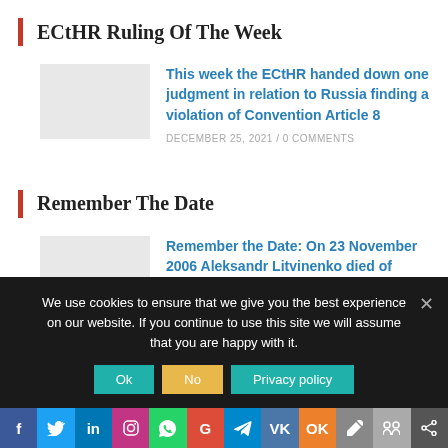ECtHR Ruling Of The Week
This week the ECtHR handed down one judgment in relation to Russia finding a violation of Convention Article 8
DECEMBER 25, 2021 / 0 COMMENTS
Remember The Date
Remember the Date: On 23 November 2006 Aleksandr Litvinenko died of polonium poisoning
NOVEMBER 23, 2021 / 0 COMMENTS
We use cookies to ensure that we give you the best experience on our website. If you continue to use this site we will assume that you are happy with it.
f | Twitter | in | Instagram | WhatsApp | G | Telegram | VK | OK | Pen | Group | Share